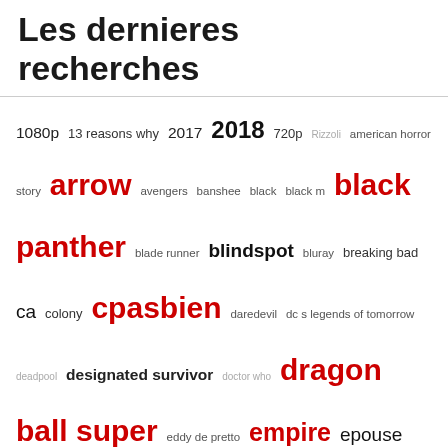Les dernieres recherches
[Figure (infographic): Tag cloud of recent searches including TV shows, movies and websites, with size and color (red for popular) indicating frequency. Terms include: 1080p, 13 reasons why, 2017, 2018, 720p, Rizzoli, american horror story, arrow, avengers, banshee, black, black m, black panther, blade runner, blindspot, bluray, breaking bad, ca, colony, cpasbien, daredevil, dc s legends of tomorrow, deadpool, designated survivor, doctor who, dragon ball super, eddy de pretto, empire, epouse moi mon pote, game of thrones, gomorra, gotham, grey s anatomy, grimm, harry potter, homeland, house of cards, izombie, jumanji, justice league, l arme fatale, l exorciste, la casa de papel, legion, les gardiens de la galaxie, limitless, lucifer, macgyver, marseille, marvel s agents of shield, mr robot, naps, narcos, naruto, naruto shippuden, ncis, nextorrent, once upon a time, one piece, orange is the new black, pirates des caraibes, pokemon, power, preacher, scandal, scooby doo, scorpion, seven seconds, seven sisters, shameless, sleepy hollow, south park, spartacus, star trek, star trek discovery, star wars, star wars 8, stranger things, suits]